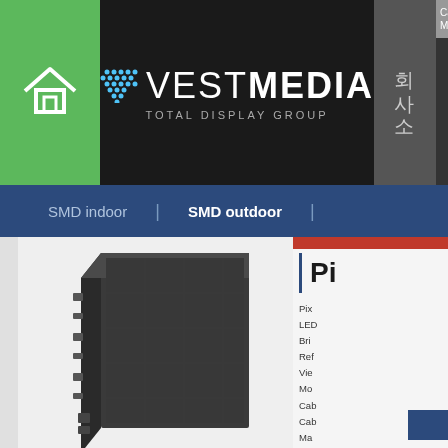[Figure (logo): VestMedia Total Display Group logo on black background with green dot matrix icon]
회사소
Ca
Ma
SMD indoor | SMD outdoor |
[Figure (photo): LED display panel cabinet shown from an angle, dark grey color, with mounting hardware visible on the left side]
Pi
Pix
LED
Bri
Ref
Vie
Mo
Cab
Cab
Ma